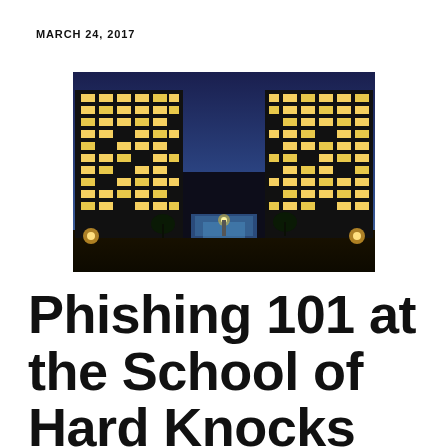MARCH 24, 2017
[Figure (photo): Night-time photo of two large dark multi-story office/government buildings flanking a central illuminated entrance, lit windows glowing against a deep blue dusk sky, with trees and street lighting visible at base]
Phishing 101 at the School of Hard Knocks